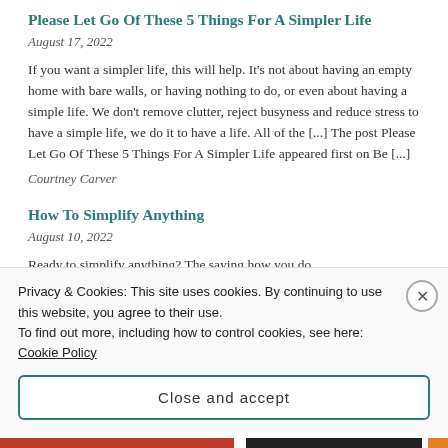Please Let Go Of These 5 Things For A Simpler Life
August 17, 2022
If you want a simpler life, this will help. It's not about having an empty home with bare walls, or having nothing to do, or even about having a simple life. We don't remove clutter, reject busyness and reduce stress to have a simple life, we do it to have a life. All of the [...] The post Please Let Go Of These 5 Things For A Simpler Life appeared first on Be [...]
Courtney Carver
How To Simplify Anything
August 10, 2022
Ready to simplify anything? The saying how you do
Privacy & Cookies: This site uses cookies. By continuing to use this website, you agree to their use.
To find out more, including how to control cookies, see here: Cookie Policy
Close and accept